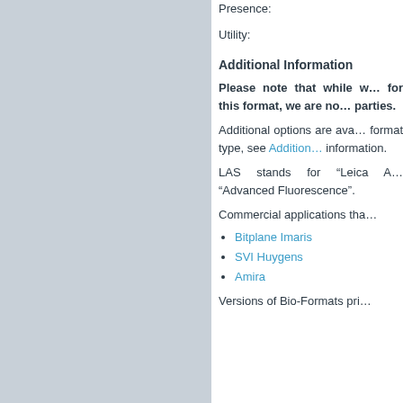Presence:
Utility:
Additional Information
Please note that while we provide support for this format, we are no… parties.
Additional options are available for this format type, see Addition… information.
LAS stands for "Leica A… "Advanced Fluorescence".
Commercial applications tha…
Bitplane Imaris
SVI Huygens
Amira
Versions of Bio-Formats pri…